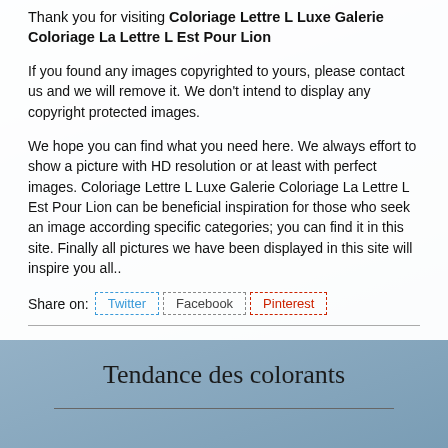Thank you for visiting Coloriage Lettre L Luxe Galerie Coloriage La Lettre L Est Pour Lion
If you found any images copyrighted to yours, please contact us and we will remove it. We don't intend to display any copyright protected images.
We hope you can find what you need here. We always effort to show a picture with HD resolution or at least with perfect images. Coloriage Lettre L Luxe Galerie Coloriage La Lettre L Est Pour Lion can be beneficial inspiration for those who seek an image according specific categories; you can find it in this site. Finally all pictures we have been displayed in this site will inspire you all..
Share on: Twitter Facebook Pinterest
Tendance des colorants